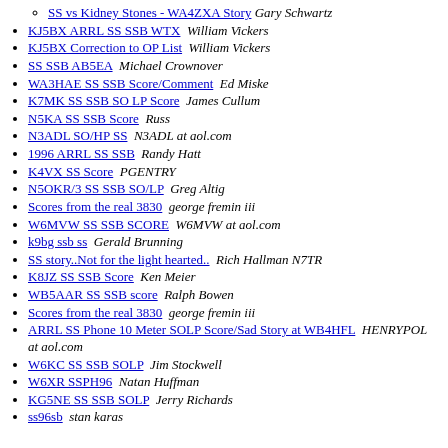SS vs Kidney Stones - WA4ZXA Story  Gary Schwartz (sub-item)
KJ5BX ARRL SS SSB WTX  William Vickers
KJ5BX Correction to OP List  William Vickers
SS SSB AB5EA  Michael Crownover
WA3HAE SS SSB Score/Comment  Ed Miske
K7MK SS SSB SO LP Score  James Cullum
N5KA SS SSB Score  Russ
N3ADL SO/HP SS  N3ADL at aol.com
1996 ARRL SS SSB  Randy Hatt
K4VX SS Score  PGENTRY
N5OKR/3 SS SSB SO/LP  Greg Altig
Scores from the real 3830  george fremin iii
W6MVW SS SSB SCORE  W6MVW at aol.com
k9bg ssb ss  Gerald Brunning
SS story..Not for the light hearted..  Rich Hallman N7TR
K8JZ SS SSB Score  Ken Meier
WB5AAR SS SSB score  Ralph Bowen
Scores from the real 3830  george fremin iii
ARRL SS Phone 10 Meter SOLP Score/Sad Story at WB4HFL  HENRYPOL at aol.com
W6KC SS SSB SOLP  Jim Stockwell
W6XR SSPH96  Natan Huffman
KG5NE SS SSB SOLP  Jerry Richards
ss96sb  stan karas